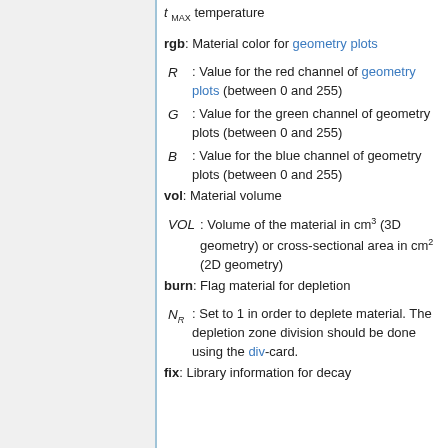t_MAX temperature
rgb: Material color for geometry plots
R : Value for the red channel of geometry plots (between 0 and 255)
G : Value for the green channel of geometry plots (between 0 and 255)
B : Value for the blue channel of geometry plots (between 0 and 255)
vol: Material volume
VOL : Volume of the material in cm3 (3D geometry) or cross-sectional area in cm2 (2D geometry)
burn: Flag material for depletion
N_R : Set to 1 in order to deplete material. The depletion zone division should be done using the div-card.
fix: Library information for decay